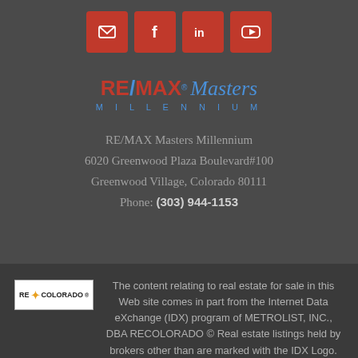[Figure (other): Social media icon buttons (email, Facebook, LinkedIn, YouTube) in red rounded square buttons]
[Figure (logo): RE/MAX Masters Millennium logo with red and blue text]
RE/MAX Masters Millennium
6020 Greenwood Plaza Boulevard#100
Greenwood Village, Colorado 80111
Phone: (303) 944-1153
The content relating to real estate for sale in this Web site comes in part from the Internet Data eXchange (IDX) program of METROLIST, INC., DBA RECOLORADO © Real estate listings held by brokers other than are marked with the IDX Logo. This information is being provided for the consumer's personal,